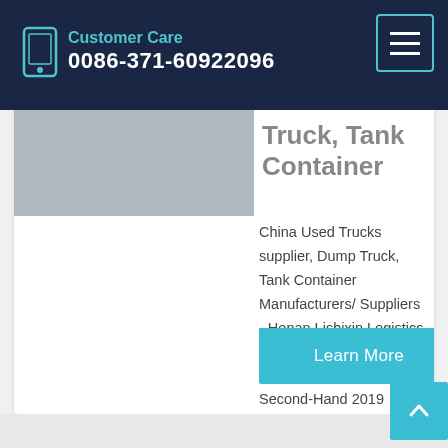Customer Care 0086-371-60922096
Truck, Tank Container
China Used Trucks supplier, Dump Truck, Tank Container Manufacturers/ Suppliers - Henan Lishixin Logistics Equipment Co., Ltd. On Made-in-China.com Second-Hand 2019 Dump Truck High Quality Sinotruk HOWO 8X4/6X4 Dump Truck Price for Sale. US$ 16,500 -17,500 / Piece. 1 Piece (MOQ)
Learn More